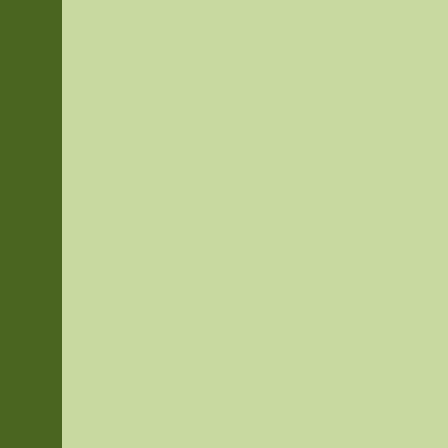Add a comment:
Gender:
Name:
Email:
[Figure (other): CAPTCHA image showing distorted red text: S67X6]
Code:
Please add your comments he
All blog posts